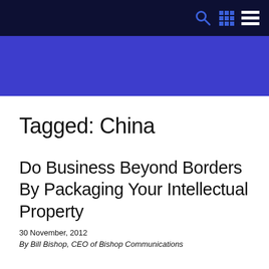Navigation bar with search, grid, and menu icons
[Figure (other): Blue banner/header area below dark navy navigation bar]
Tagged: China
Do Business Beyond Borders By Packaging Your Intellectual Property
30 November, 2012
By Bill Bishop, CEO of Bishop Communications